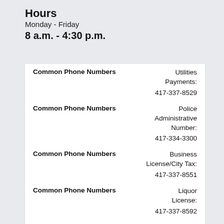Hours
Monday - Friday
8 a.m. - 4:30 p.m.
| Category | Description | Phone Number |
| --- | --- | --- |
| Common Phone Numbers | Utilities Payments: | 417-337-8529 |
| Common Phone Numbers | Police Administrative Number: | 417-334-3300 |
| Common Phone Numbers | Business License/City Tax: | 417-337-8551 |
| Common Phone Numbers | Liquor License: | 417-337-8592 |
| Common Phone Numbers | Permits: | 417-337-8549 |